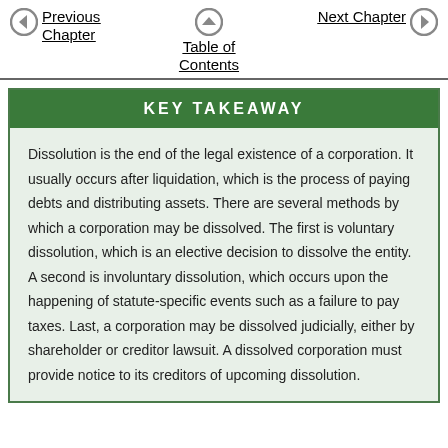Previous Chapter   Table of Contents   Next Chapter
KEY TAKEAWAY
Dissolution is the end of the legal existence of a corporation. It usually occurs after liquidation, which is the process of paying debts and distributing assets. There are several methods by which a corporation may be dissolved. The first is voluntary dissolution, which is an elective decision to dissolve the entity. A second is involuntary dissolution, which occurs upon the happening of statute-specific events such as a failure to pay taxes. Last, a corporation may be dissolved judicially, either by shareholder or creditor lawsuit. A dissolved corporation must provide notice to its creditors of upcoming dissolution.